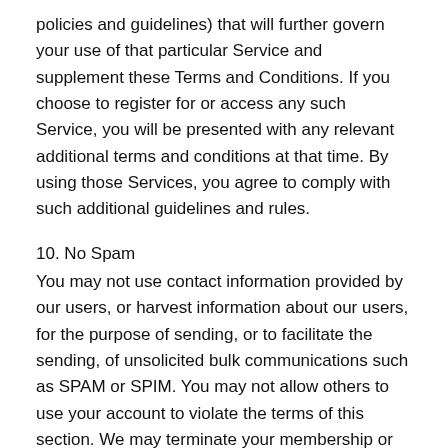policies and guidelines) that will further govern your use of that particular Service and supplement these Terms and Conditions. If you choose to register for or access any such Service, you will be presented with any relevant additional terms and conditions at that time. By using those Services, you agree to comply with such additional guidelines and rules.
10. No Spam
You may not use contact information provided by our users, or harvest information about our users, for the purpose of sending, or to facilitate the sending, of unsolicited bulk communications such as SPAM or SPIM. You may not allow others to use your account to violate the terms of this section. We may terminate your membership or access to the Site immediately and take other legal action if you or anyone using your Credentials violates these provisions.
11. Content Your Provide: Submissions